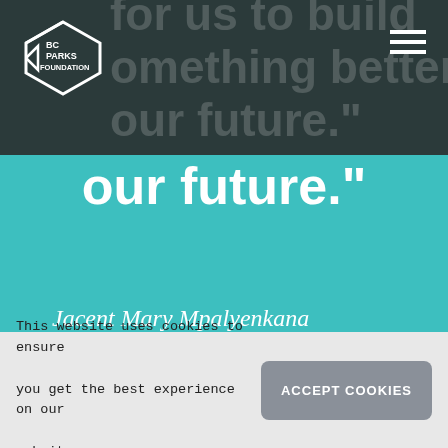[Figure (logo): BC Parks Foundation logo — white arrow/diamond outline with text BC PARKS FOUNDATION]
for us to build something better for our future."
Jacent Mary Mpalyenkana
[Figure (photo): Tree branches silhouetted against a grey overcast sky]
This website uses cookies to ensure you get the best experience on our website
ACCEPT COOKIES